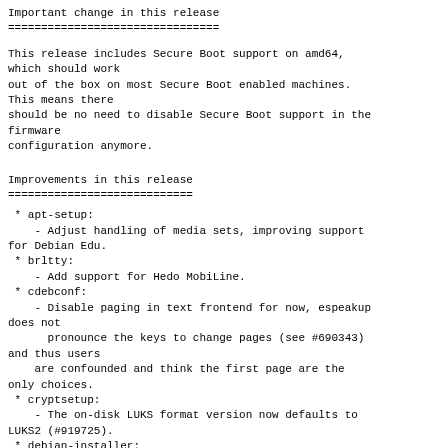Important change in this release
================================
This release includes Secure Boot support on amd64,
which should work
out of the box on most Secure Boot enabled machines.
This means there
should be no need to disable Secure Boot support in the firmware
configuration anymore.
Improvements in this release
============================
* apt-setup:
    - Adjust handling of media sets, improving support for Debian Edu.
* brltty:
    - Add support for Hedo MobiLine.
* cdebconf:
    - Disable paging in text frontend for now, espeakup does not
      pronounce the keys to change pages (see #690343) and thus users
      are confounded and think the first page are the only choices.
* cryptsetup:
    - The on-disk LUKS format version now defaults to LUKS2 (#919725).
* debian-installer: